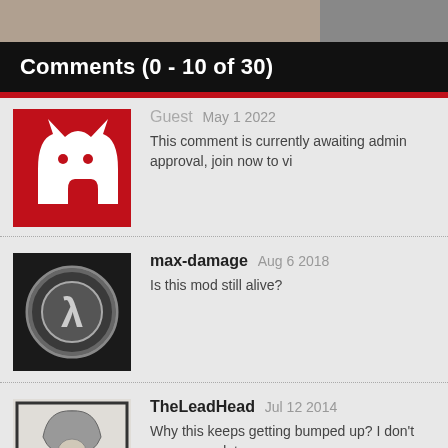[Figure (screenshot): Top cropped image bar showing partial image]
Comments  (0 - 10 of 30)
Guest May 1 2022
This comment is currently awaiting admin approval, join now to vi
max-damage Aug 6 2018
Is this mod still alive?
TheLeadHead Jul 12 2014
Why this keeps getting bumped up? I don't see any updates or an
Citzenslayer Jul 4 2012
That is a good game i loved playing BPR...